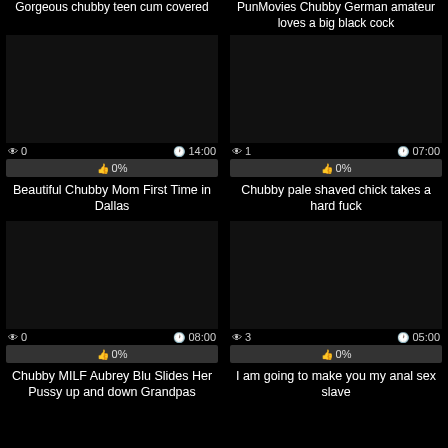Gorgeous chubby teen cum covered
PunMovies Chubby German amateur loves a big black cock
[Figure (screenshot): Video thumbnail placeholder - dark/black]
0  14:00  0%
Beautiful Chubby Mom First Time in Dallas
[Figure (screenshot): Video thumbnail placeholder - dark/black]
1  07:00  0%
Chubby pale shaved chick takes a hard fuck
[Figure (screenshot): Video thumbnail placeholder - dark/black]
0  08:00  0%
Chubby MILF Aubrey Blu Slides Her Pussy up and down Grandpas
[Figure (screenshot): Video thumbnail placeholder - dark/black]
3  05:00  0%
I am going to make you my anal sex slave